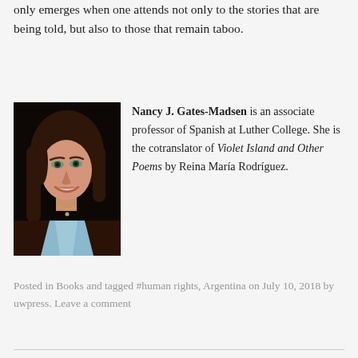only emerges when one attends not only to the stories that are being told, but also to those that remain taboo.
[Figure (photo): Portrait photo of Nancy J. Gates-Madsen, a woman with brown hair, smiling, wearing a dark brown cardigan over a light blue top with a small necklace, against a black background.]
Nancy J. Gates-Madsen is an associate professor of Spanish at Luther College. She is the cotranslator of Violet Island and Other Poems by Reina María Rodríguez.
Posted in Books and tagged #human rights, Argentina on July 10, 2018 by uwpress. Leave a comment